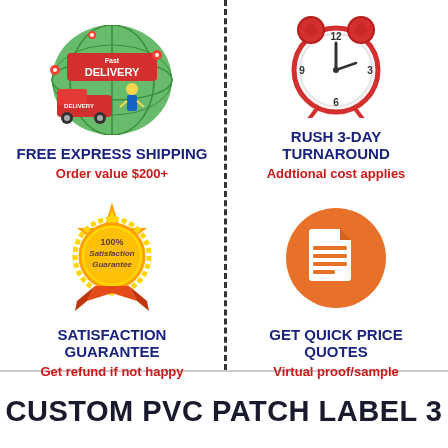[Figure (illustration): Fast Delivery illustration with a delivery van, globe, and person]
FREE EXPRESS SHIPPING
Order value $200+
[Figure (illustration): Red alarm clock illustration indicating rush/speed]
RUSH 3-DAY TURNAROUND
Addtional cost applies
[Figure (illustration): Gold 100% Satisfaction Guarantee seal/badge with orange ribbon]
SATISFACTION GUARANTEE
Get refund if not happy
[Figure (illustration): Orange circular icon with a document/paper graphic]
GET QUICK PRICE QUOTES
Virtual proof/sample
CUSTOM PVC PATCH LABEL 3